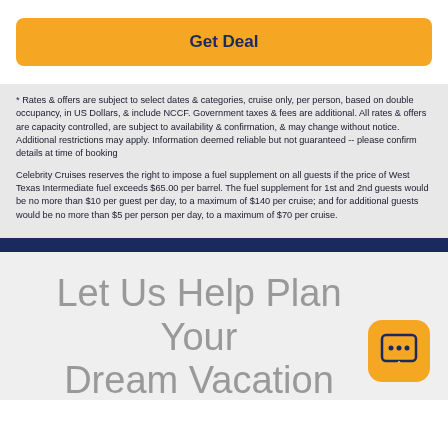Get Deal
* Rates & offers are subject to select dates & categories, cruise only, per person, based on double occupancy, in US Dollars, & include NCCF. Government taxes & fees are additional. All rates & offers are capacity controlled, are subject to availability & confirmation, & may change without notice. Additional restrictions may apply. Information deemed reliable but not guaranteed -- please confirm details at time of booking
Celebrity Cruises reserves the right to impose a fuel supplement on all guests if the price of West Texas Intermediate fuel exceeds $65.00 per barrel. The fuel supplement for 1st and 2nd guests would be no more than $10 per guest per day, to a maximum of $140 per cruise; and for additional guests would be no more than $5 per person per day, to a maximum of $70 per cruise.
Let Us Help Plan Your Dream Vacation